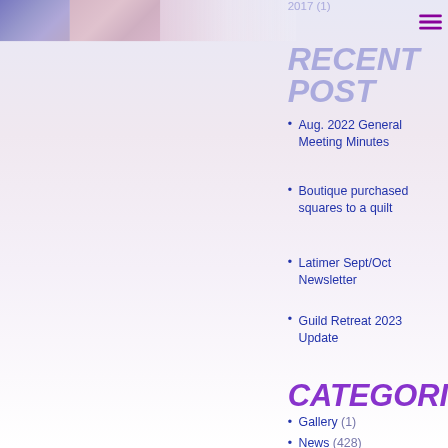2017 (1)
[Figure (photo): Quilted fabric banner image in blue-purple and pink tones across the top of the page]
RECENT POST
Aug. 2022 General Meeting Minutes
Boutique purchased squares to a quilt
Latimer Sept/Oct Newsletter
Guild Retreat 2023 Update
CATEGORIES
Gallery (1)
News (428)
Project (1)